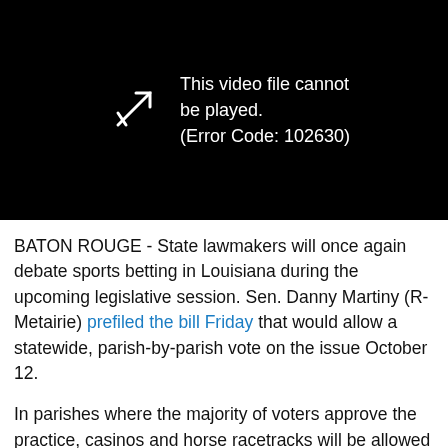[Figure (screenshot): Black video player area showing error message: 'This video file cannot be played. (Error Code: 102630)' with a play button icon on the left.]
BATON ROUGE - State lawmakers will once again debate sports betting in Louisiana during the upcoming legislative session. Sen. Danny Martiny (R-Metairie) prefiled the bill Friday that would allow a statewide, parish-by-parish vote on the issue October 12.
In parishes where the majority of voters approve the practice, casinos and horse racetracks will be allowed to apply for sports betting licenses on January 1, 2020.